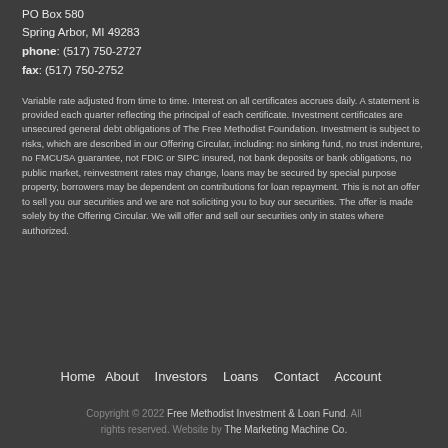PO Box 580
Spring Arbor, MI 49283
phone: (517) 750-2727
fax: (517) 750-2752
Variable rate adjusted from time to time. Interest on all certificates accrues daily. A statement is provided each quarter reflecting the principal of each certificate. Investment certificates are unsecured general debt obligations of The Free Methodist Foundation. Investment is subject to risks, which are described in our Offering Circular, including: no sinking fund, no trust indenture, no FMCUSA guarantee, not FDIC or SIPC insured, not bank deposits or bank obligations, no public market, reinvestment rates may change, loans may be secured by special purpose property, borrowers may be dependent on contributions for loan repayment. This is not an offer to sell you our securities and we are not soliciting you to buy our securities. The offer is made solely by the Offering Circular. We will offer and sell our securities only in states where authorized.
Home   About   Investors   Loans   Contact   Account
Copyright © 2022 Free Methodist Investment & Loan Fund. All rights reserved. Website by The Marketing Machine Co.